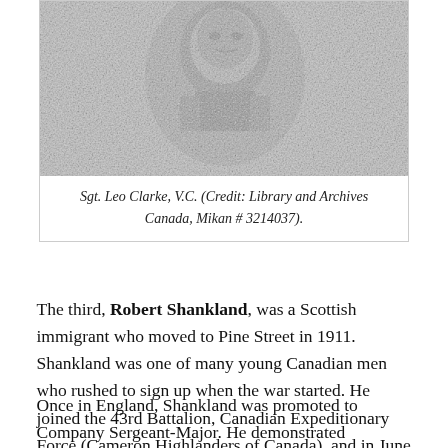[Figure (photo): Black and white portrait photograph of Sgt. Leo Clarke, V.C., showing the upper body of a man in military uniform. The image is grainy and aged.]
Sgt. Leo Clarke, V.C. (Credit: Library and Archives Canada, Mikan # 3214037).
The third, Robert Shankland, was a Scottish immigrant who moved to Pine Street in 1911. Shankland was one of many young Canadian men who rushed to sign up when the war started. He joined the 43rd Battalion, Canadian Expeditionary Force (Cameron Highlanders of Canada), and in June 1915 was sent to Britain along with the rest of the Battalion.
Once in England, Shankland was promoted to Company Sergeant-Major. He demonstrated immense courage at Sanctuary Wood in Belgium, where he led stretcher-bearers